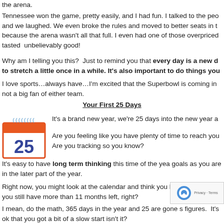the arena.
Tennessee won the game, pretty easily, and I had fun. I talked to the peo and we laughed. We even broke the rules and moved to better seats in t because the arena wasn't all that full. I even had one of those overpriced tasted unbelievably good!
Why am I telling you this? Just to remind you that every day is a new d to stretch a little once in a while. It's also important to do things you
I love sports…always have…I'm excited that the Superbowl is coming in not a big fan of either team.
Your First 25 Days
[Figure (illustration): Calendar icon showing the number 25 with decorative spiral binding at top, orange/red border]
It's a brand new year, we're 25 days into the new year a
Are you feeling like you have plenty of time to reach you Are you tracking so you know?
It's easy to have long term thinking this time of the yea goals as you are in the later part of the year.
Right now, you might look at the calendar and think you have after all, you still have more than 11 months left, right?
I mean, do the math, 365 days in the year and 25 are gone s figures. It's ok that you got a bit of a slow start isn't it?